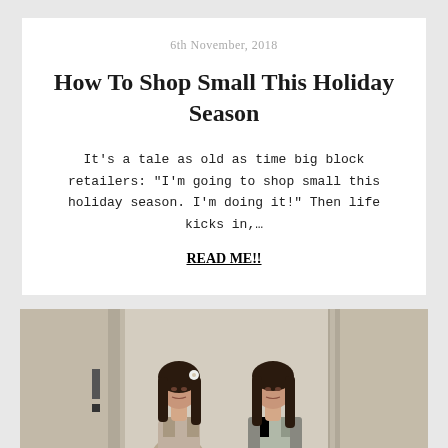6th November, 2018
How To Shop Small This Holiday Season
It's a tale as old as time big block retailers: "I'm going to shop small this holiday season. I'm doing it!" Then life kicks in,…
READ ME!!
[Figure (photo): Two young women with dark hair standing side by side in what appears to be a dressing room or hallway with light-colored walls and curtains. Both are wearing light-colored outfits and have similar appearances.]